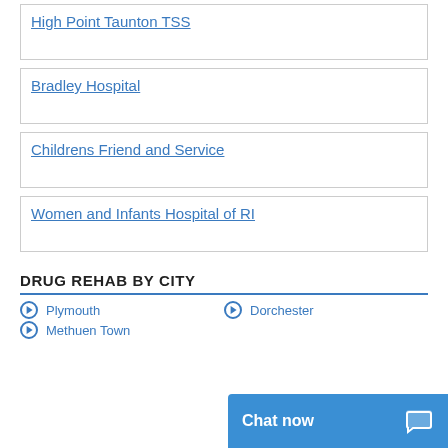High Point Taunton TSS
Bradley Hospital
Childrens Friend and Service
Women and Infants Hospital of RI
DRUG REHAB BY CITY
Plymouth
Dorchester
Methuen Town